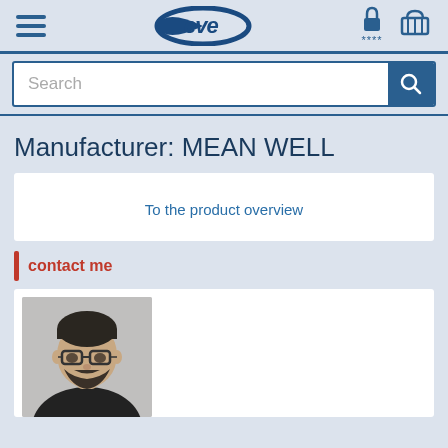eve (logo navigation bar with hamburger menu, lock icon ****,  and cart icon)
Search
Manufacturer: MEAN WELL
To the product overview
contact me
[Figure (photo): Photo of a bearded man with glasses wearing dark clothing, cropped to show face and upper body on a neutral grey background]